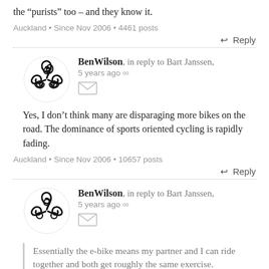the "purists" too – and they know it.
Auckland • Since Nov 2006 • 4461 posts
↩ Reply
BenWilson, in reply to Bart Janssen, 5 years ago ∞
Yes, I don't think many are disparaging more bikes on the road. The dominance of sports oriented cycling is rapidly fading.
Auckland • Since Nov 2006 • 10657 posts
↩ Reply
BenWilson, in reply to Bart Janssen, 5 years ago ∞
Essentially the e-bike means my partner and I can ride together and both get roughly the same exercise.
Is one of you on an e-bike and the other not?